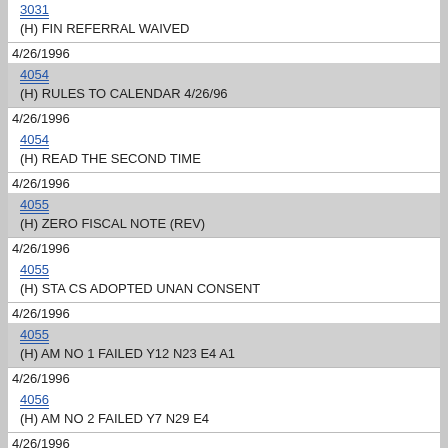3031
(H) FIN REFERRAL WAIVED
4/26/1996
4054
(H) RULES TO CALENDAR 4/26/96
4/26/1996
4054
(H) READ THE SECOND TIME
4/26/1996
4055
(H) ZERO FISCAL NOTE (REV)
4/26/1996
4055
(H) STA CS ADOPTED UNAN CONSENT
4/26/1996
4055
(H) AM NO 1 FAILED Y12 N23 E4 A1
4/26/1996
4056
(H) AM NO 2 FAILED Y7 N29 E4
4/26/1996